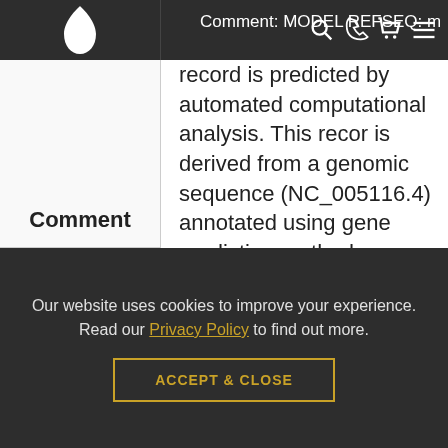Comment: MODEL REFSEQ: mi...
record is predicted by automated computational analysis. This record is derived from a genomic sequence (NC_005116.4) annotated using gene prediction method: Gnomon, supported by EST evidence. Also see: Documentation of NCBI's Annotation Process On Jul 26, 2016 this sequence version replaced XM_006253786.2. ##Genome-Annotation-Data-START## Annotation Provider ::
Comment
Our website uses cookies to improve your experience. Read our Privacy Policy to find out more.
ACCEPT & CLOSE